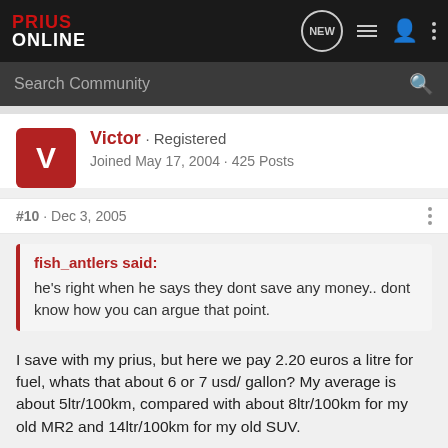Prius Online
Search Community
Victor · Registered
Joined May 17, 2004 · 425 Posts
#10 · Dec 3, 2005
fish_antlers said:
he's right when he says they dont save any money.. dont know how you can argue that point.
I save with my prius, but here we pay 2.20 euros a litre for fuel, whats that about 6 or 7 usd/ gallon? My average is about 5ltr/100km, compared with about 8ltr/100km for my old MR2 and 14ltr/100km for my old SUV.